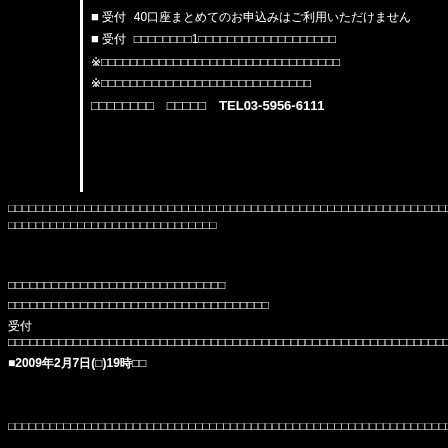■受付　40口座まとめてのお申込みはご利用いただけません
■受付　1口座あずけてのお申込みはご利用いただけません
※□□□□□□□□□□□□□□□□□□□□□□□□□□□
※□□□□□□□□□□□□□□□□□□□□□□□□
□□□□□□□□　□□□□□　TEL03-5956-6111
□□□□□□□□□□□□□□□□□□□□□□□□□□□□□□□□□□□□□□□□□□□□□□□□□□□□□□□□□□□□□□□□□□□□□□□□□□□□□□□□□□□□□□□□□□□□□□□□□□□□□□□□□□□□□□□□□□□□□□□□□□□□□□□□□□□□□□□□□□□□□□□□□□□□□□□□□□□□□□□□□□□□□□□□□□□□□□□□□□□□□□□□□□□□□□□□□□□□
□□□□□□□□□□□□□□□□□□□□□□□□□□□
□□□□□□□□□□□□□□□□□□□□□□□□□□□□
□□□□□□□□□□□□□□□□□□□□□□□□□□□□□□□□□□□□□□□□□□□□□
受付　□□□□□□□□□□□×□□　□□□□□□□×□□□□□□□□□
■2009年2月7日(□)19時□□
□□□□□□□□□□□□□□□□□□□□□□□□□□□□□□□□□□□□□□□□□□□□□□□□□□□□□□□□□□□□□□□□□□□□□□□□□□□□□□□□□□□□□□□□□□□□□□□□□□□□□□□□□□□□□□□□□□□□□□□□□□□□□□□□□□□□□□□□□□□□□□□□□□□□□□□□□□□□□□□□□□□□□□□□□□□□□□□□□□□□□□□□□□□□□□□□□□□□□□□□□□